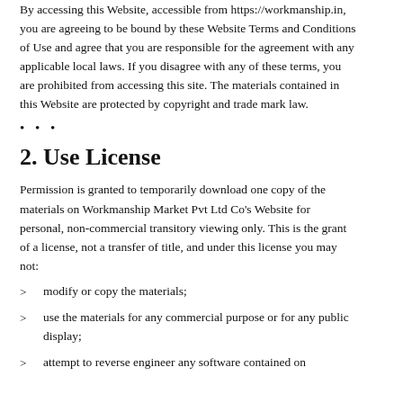By accessing this Website, accessible from https://workmanship.in, you are agreeing to be bound by these Website Terms and Conditions of Use and agree that you are responsible for the agreement with any applicable local laws. If you disagree with any of these terms, you are prohibited from accessing this site. The materials contained in this Website are protected by copyright and trade mark law.
...
2. Use License
Permission is granted to temporarily download one copy of the materials on Workmanship Market Pvt Ltd Co’s Website for personal, non-commercial transitory viewing only. This is the grant of a license, not a transfer of title, and under this license you may not:
modify or copy the materials;
use the materials for any commercial purpose or for any public display;
attempt to reverse engineer any software contained on